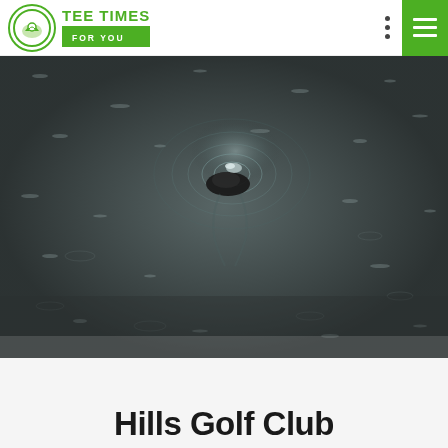TEE TIMES FOR YOU
[Figure (photo): Aerial or top-down view of a golf ball or rock partially submerged in a water hazard, with ripples spreading outward on the dark water surface]
Hills Golf Club